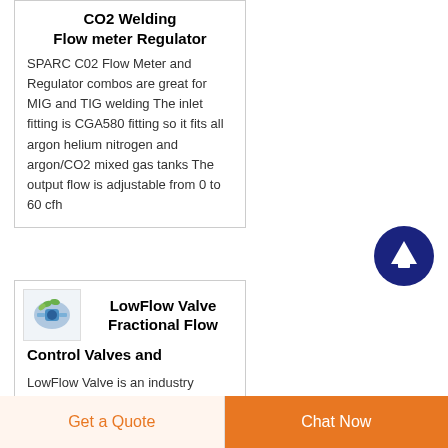CO2 Welding Flow meter Regulator
SPARC C02 Flow Meter and Regulator combos are great for MIG and TIG welding The inlet fitting is CGA580 fitting so it fits all argon helium nitrogen and argon/CO2 mixed gas tanks The output flow is adjustable from 0 to 60 cfh
[Figure (illustration): Dark navy blue circular scroll-to-top button with white upward arrow]
[Figure (photo): Small product image of LowFlow Valve showing a blue/teal valve component]
LowFlow Valve Fractional Flow Control Valves and
LowFlow Valve is an industry leader in precision valve